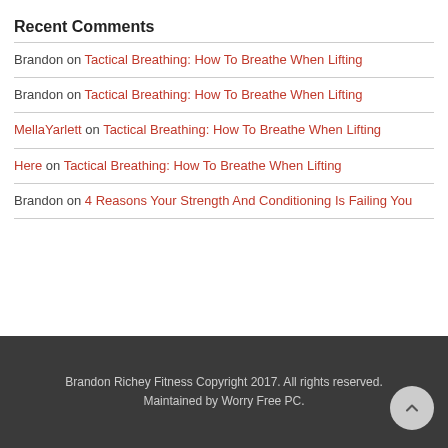Recent Comments
Brandon on Tactical Breathing: How To Breathe When Lifting
Brandon on Tactical Breathing: How To Breathe When Lifting
MellaYarlett on Tactical Breathing: How To Breathe When Lifting
Here on Tactical Breathing: How To Breathe When Lifting
Brandon on 4 Reasons Your Strength And Conditioning Is Failing You
Brandon Richey Fitness Copyright 2017. All rights reserved. Maintained by Worry Free PC.